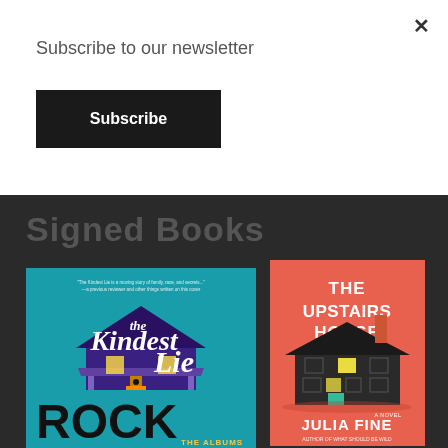Subscribe to our newsletter
Subscribe
Signed Books
[Figure (illustration): Book cover: The Kindest Lie by Nancy Johnson, teal background with illustrated house and figures]
[Figure (illustration): Book cover: The Upstairs House by Julia Fine, coral/red background with dark illustrated house]
[Figure (illustration): Partial book cover visible at bottom showing ROCK STARS title]